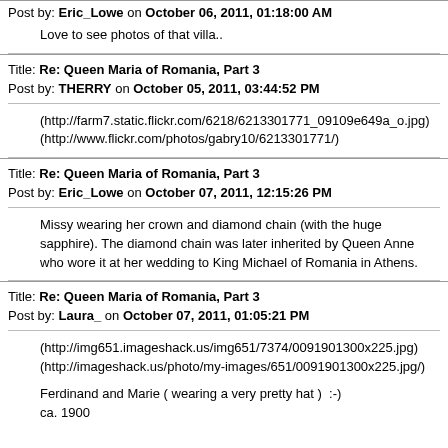Post by: Eric_Lowe on October 06, 2011, 01:18:00 AM
Love to see photos of that villa..
Title: Re: Queen Maria of Romania, Part 3
Post by: THERRY on October 05, 2011, 03:44:52 PM
(http://farm7.static.flickr.com/6218/6213301771_09109e649a_o.jpg)
(http://www.flickr.com/photos/gabry10/6213301771/)
Title: Re: Queen Maria of Romania, Part 3
Post by: Eric_Lowe on October 07, 2011, 12:15:26 PM
Missy wearing her crown and diamond chain (with the huge sapphire). The diamond chain was later inherited by Queen Anne who wore it at her wedding to King Michael of Romania in Athens.
Title: Re: Queen Maria of Romania, Part 3
Post by: Laura_ on October 07, 2011, 01:05:21 PM
(http://img651.imageshack.us/img651/7374/0091901300x225.jpg)
(http://imageshack.us/photo/my-images/651/0091901300x225.jpg/)
Ferdinand and Marie ( wearing a very pretty hat )  :-)
ca. 1900